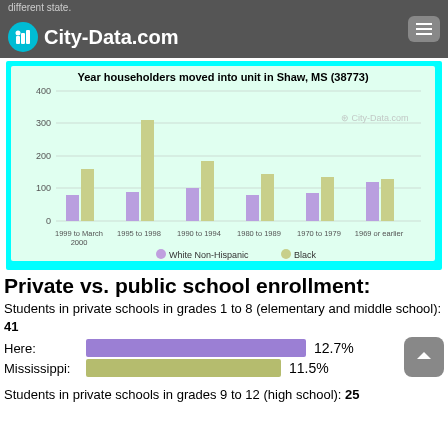City-Data.com
[Figure (grouped-bar-chart): Year householders moved into unit in Shaw, MS (38773)]
Private vs. public school enrollment:
Students in private schools in grades 1 to 8 (elementary and middle school): 41
Here: 12.7%
Mississippi: 11.5%
Students in private schools in grades 9 to 12 (high school): 25